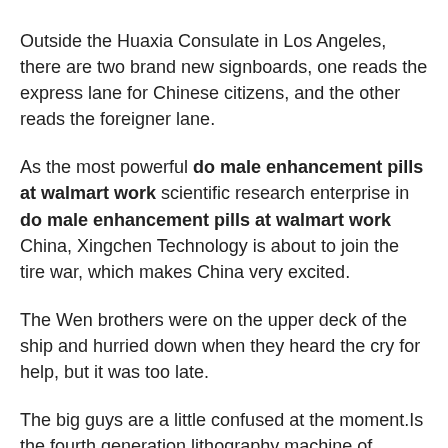Outside the Huaxia Consulate in Los Angeles, there are two brand new signboards, one reads the express lane for Chinese citizens, and the other reads the foreigner lane.
As the most powerful do male enhancement pills at walmart work scientific research enterprise in do male enhancement pills at walmart work China, Xingchen Technology is about to join the tire war, which makes China very excited.
The Wen brothers were on the upper deck of the ship and hurried down when they heard the cry for help, but it was too late.
The big guys are a little confused at the moment.Is the fourth generation lithography machine of Xingchen Technology really powerful Of course, it is powerful.